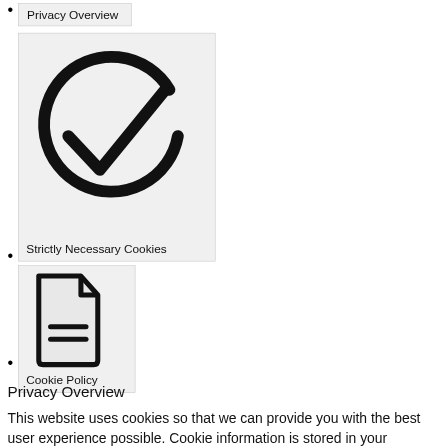Privacy Overview
[Figure (illustration): Checkmark inside a partial circle icon, representing privacy/verification, displayed in a grey card]
Strictly Necessary Cookies
[Figure (illustration): Document/file icon with lines representing text, displayed in a grey card]
Cookie Policy
Privacy Overview
This website uses cookies so that we can provide you with the best user experience possible. Cookie information is stored in your